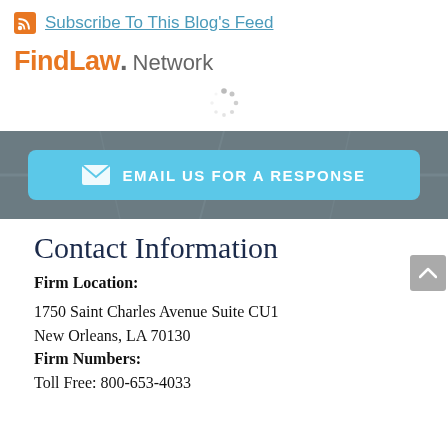Subscribe To This Blog's Feed
[Figure (logo): FindLaw Network logo with orange FindLaw text and gray Network text]
[Figure (other): Loading spinner graphic]
[Figure (map): Dark satellite map background showing street layout]
EMAIL US FOR A RESPONSE
Contact Information
Firm Location:
1750 Saint Charles Avenue Suite CU1
New Orleans, LA 70130
Firm Numbers:
Toll Free: 800-653-4033